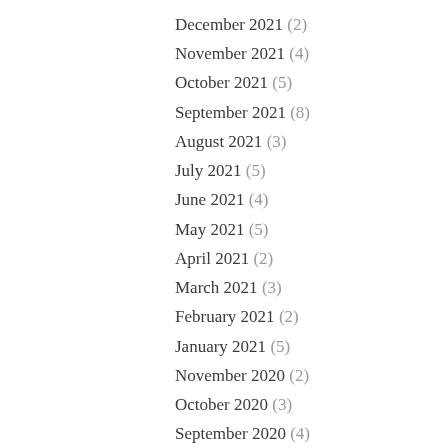December 2021 (2)
November 2021 (4)
October 2021 (5)
September 2021 (8)
August 2021 (3)
July 2021 (5)
June 2021 (4)
May 2021 (5)
April 2021 (2)
March 2021 (3)
February 2021 (2)
January 2021 (5)
November 2020 (2)
October 2020 (3)
September 2020 (4)
August 2020 (3)